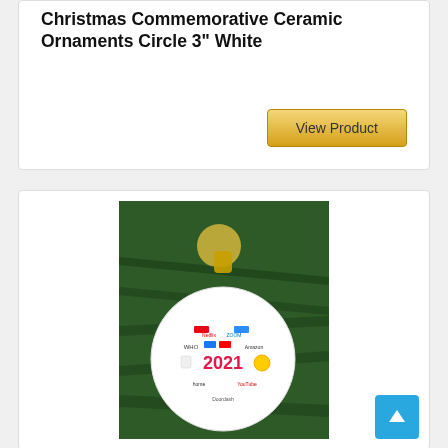Christmas Commemorative Ceramic Ornaments Circle 3" White
[Figure (photo): A circular ceramic Christmas ornament with '2021' text and various pop culture icons, hanging on a Christmas tree with green pine branches and bokeh lights in background.]